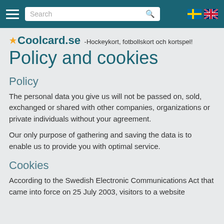Navigation bar with hamburger menu, search box, Swedish and UK flags
Coolcard.se -Hockeykort, fotbollskort och kortspel! Policy and cookies
Policy
The personal data you give us will not be passed on, sold, exchanged or shared with other companies, organizations or private individuals without your agreement.
Our only purpose of gathering and saving the data is to enable us to provide you with optimal service.
Cookies
According to the Swedish Electronic Communications Act that came into force on 25 July 2003, visitors to a website